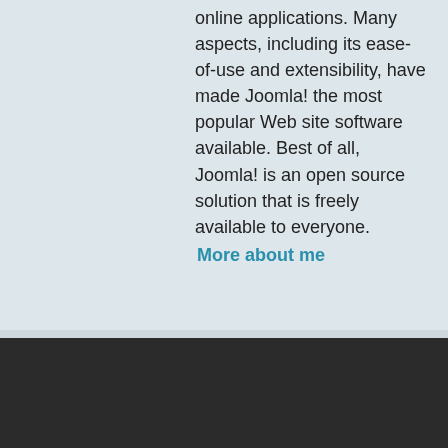online applications. Many aspects, including its ease-of-use and extensibility, have made Joomla! the most popular Web site software available. Best of all, Joomla! is an open source solution that is freely available to everyone.
More about me
We use cookies on our websites to deliver our online services. Details about how we use cookies and how you may disable them are set out in our Privacy Statement. By using this website you agree to our use of cookies.